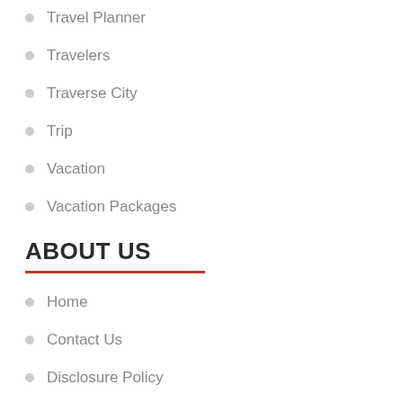Travel Planner
Travelers
Traverse City
Trip
Vacation
Vacation Packages
ABOUT US
Home
Contact Us
Disclosure Policy
Sitemap